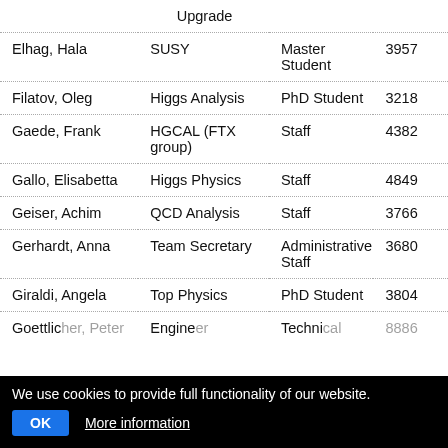| Name | Group | Role | Ext. |
| --- | --- | --- | --- |
|  | Upgrade |  |  |
| Elhag, Hala | SUSY | Master Student | 3957 |
| Filatov, Oleg | Higgs Analysis | PhD Student | 3218 |
| Gaede, Frank | HGCAL (FTX group) | Staff | 4382 |
| Gallo, Elisabetta | Higgs Physics | Staff | 4849 |
| Geiser, Achim | QCD Analysis | Staff | 3766 |
| Gerhardt, Anna | Team Secretary | Administrative Staff | 3680 |
| Giraldi, Angela | Top Physics | PhD Student | 3804 |
| Goettlicher, Peter | Engineer | Technical | 8886 |
We use cookies to provide full functionality of our website.